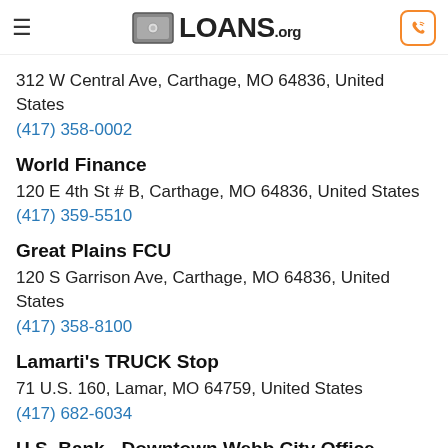LOANS.org
312 W Central Ave, Carthage, MO 64836, United States
(417) 358-0002
World Finance
120 E 4th St # B, Carthage, MO 64836, United States
(417) 359-5510
Great Plains FCU
120 S Garrison Ave, Carthage, MO 64836, United States
(417) 358-8100
Lamarti's TRUCK Stop
71 U.S. 160, Lamar, MO 64759, United States
(417) 682-6034
U.S. Bank - Downtown Webb City Office